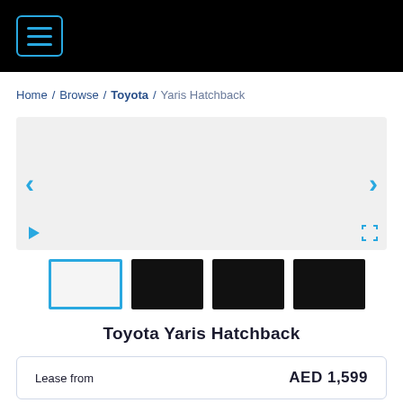[hamburger menu icon]
Home / Browse / Toyota / Yaris Hatchback
[Figure (photo): Car image viewer area with left and right navigation arrows, play button, and fullscreen button. Large light grey rectangle with no visible car image loaded.]
[Figure (photo): Four car image thumbnails: first thumbnail is white/light with blue active border, second third and fourth thumbnails are black/dark.]
Toyota Yaris Hatchback
Lease from   AED 1,599